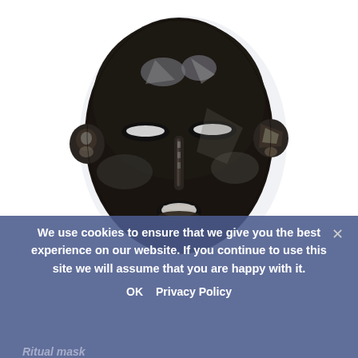[Figure (photo): A dark ritual mask with reflective/metallic surface, oval face shape with narrow slit eyes, a vertical ridged nose, and a small open oval mouth. The mask has decorative elements on the sides and forehead. Photographed against a white background.]
We use cookies to ensure that we give you the best experience on our website. If you continue to use this site we will assume that you are happy with it.
OK  Privacy Policy
Ritual mask